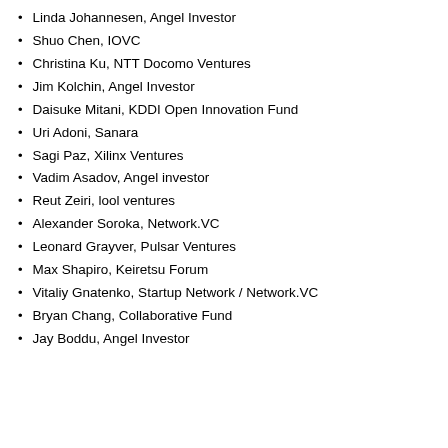Linda Johannesen, Angel Investor
Shuo Chen, IOVC
Christina Ku, NTT Docomo Ventures
Jim Kolchin, Angel Investor
Daisuke Mitani, KDDI Open Innovation Fund
Uri Adoni, Sanara
Sagi Paz, Xilinx Ventures
Vadim Asadov, Angel investor
Reut Zeiri, lool ventures
Alexander Soroka, Network.VC
Leonard Grayver, Pulsar Ventures
Max Shapiro, Keiretsu Forum
Vitaliy Gnatenko, Startup Network / Network.VC
Bryan Chang, Collaborative Fund
Jay Boddu, Angel Investor